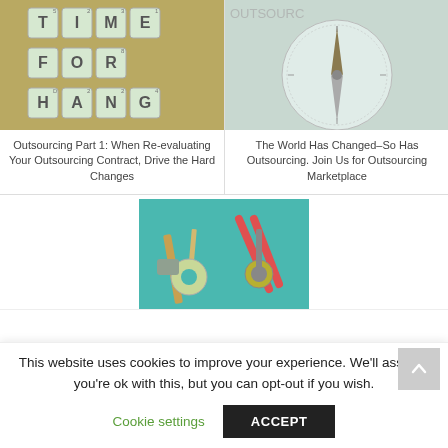[Figure (photo): Scrabble tiles spelling TIME FOR CHANGE on a cork board background]
Outsourcing Part 1: When Re-evaluating Your Outsourcing Contract, Drive the Hard Changes
[Figure (photo): A compass on a light background with the word OUTSOURCING partially visible]
The World Has Changed–So Has Outsourcing. Join Us for Outsourcing Marketplace
[Figure (photo): Office tools including scissors, tape, ruler, and other craft tools on a teal surface]
This website uses cookies to improve your experience. We'll assume you're ok with this, but you can opt-out if you wish.